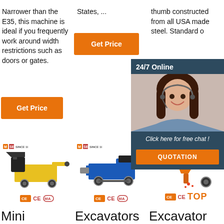Narrower than the E35, this machine is ideal if you frequently work around width restrictions such as doors or gates.
States, ...
thumb constructed from all USA made steel. Standard o
[Figure (infographic): Orange Get Price button (col 2)]
[Figure (infographic): 24/7 Online chat popup with female operator photo, 'Click here for free chat!' text, and QUOTATION button]
[Figure (infographic): Orange Get Price button (col 1)]
[Figure (photo): Yellow industrial machine/pump on wheels - product image with SINCE 1979 logo and CE MA badges]
[Figure (photo): Blue industrial pump/excavator machine on wheels - product image with SINCE 1979 logo and CE MA badges]
[Figure (photo): Orange excavator attachment/bucket - partial product image with CE MA badges and TOP button]
Mini
Excavators
Excavator